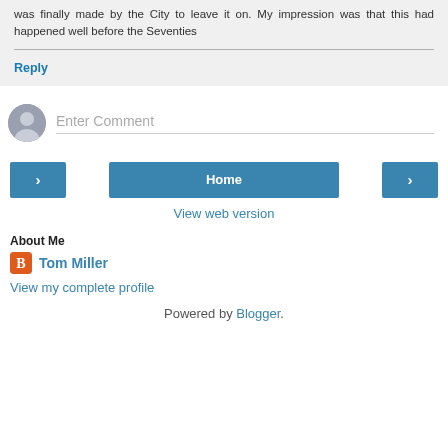was finally made by the City to leave it on. My impression was that this had happened well before the Seventies
Reply
Enter Comment
Home
View web version
About Me
Tom Miller
View my complete profile
Powered by Blogger.